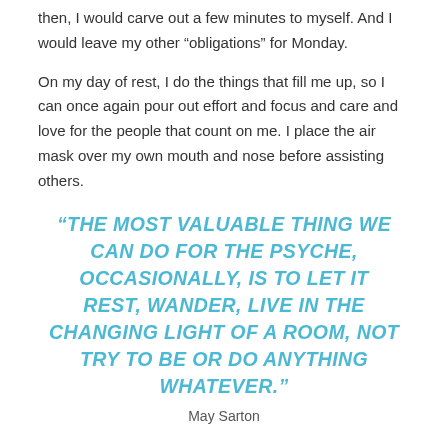then, I would carve out a few minutes to myself. And I would leave my other “obligations” for Monday.
On my day of rest, I do the things that fill me up, so I can once again pour out effort and focus and care and love for the people that count on me. I place the air mask over my own mouth and nose before assisting others.
“THE MOST VALUABLE THING WE CAN DO FOR THE PSYCHE, OCCASIONALLY, IS TO LET IT REST, WANDER, LIVE IN THE CHANGING LIGHT OF A ROOM, NOT TRY TO BE OR DO ANYTHING WHATEVER.”
May Sarton